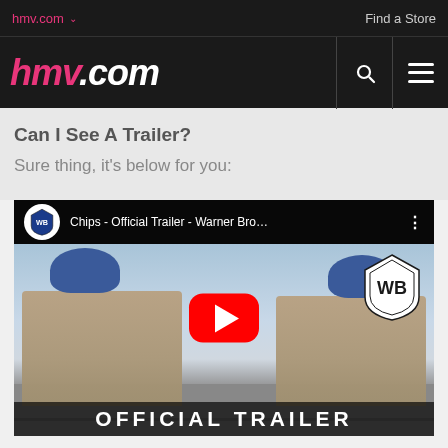hmv.com   Find a Store
hmv.com
Can I See A Trailer?
Sure thing, it's below for you:
[Figure (screenshot): YouTube embedded video player showing 'Chips - Official Trailer - Warner Bro...' with two California Highway Patrol officers on motorcycles, Warner Bros shield logo, red YouTube play button, and partial 'OFFICIAL TRAILER' text at bottom.]